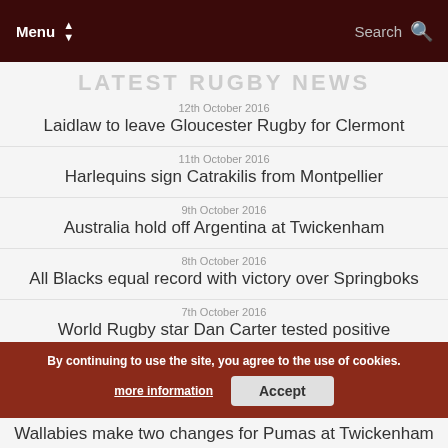Menu | Search
LATEST RUGBY NEWS
12th October 2016 — Laidlaw to leave Gloucester Rugby for Clermont
11th October 2016 — Harlequins sign Catrakilis from Montpellier
9th October 2016 — Australia hold off Argentina at Twickenham
8th October 2016 — All Blacks equal record with victory over Springboks
7th October 2016 — World Rugby star Dan Carter tested positive
6th October 2016 — All Black Smith apologises for "huge mistake"
By continuing to use the site, you agree to the use of cookies. more information | Accept
Wallabies make two changes for Pumas at Twickenham